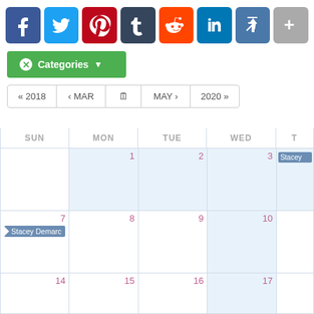[Figure (screenshot): Social media sharing buttons row: Facebook (blue), Twitter (light blue), Pinterest (red), Tumblr (dark grey), Reddit (orange), LinkedIn (blue), Pinpoint/Share (steel blue), More/Plus (grey)]
Categories
[Figure (screenshot): Calendar navigation bar with: « 2018, < MAR, calendar icon, MAY >, 2020 »]
| SUN | MON | TUE | WED | T(HU) |
| --- | --- | --- | --- | --- |
|  | 1 | 2 | 3 | Stacey |
| 7 / Stacey Demarc | 8 | 9 | 10 |  |
| 14 | 15 | 16 | 17 |  |